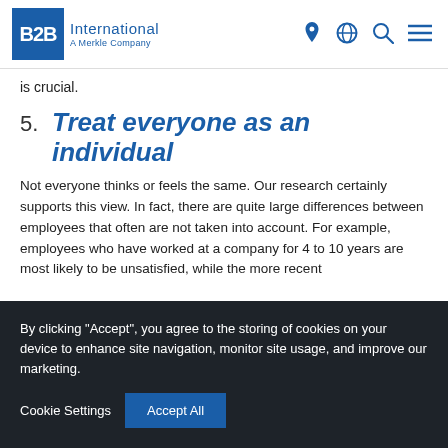B2B International — A Merkle Company
is crucial.
5. Treat everyone as an individual
Not everyone thinks or feels the same. Our research certainly supports this view. In fact, there are quite large differences between employees that often are not taken into account. For example, employees who have worked at a company for 4 to 10 years are most likely to be unsatisfied, while the more recent
By clicking “Accept”, you agree to the storing of cookies on your device to enhance site navigation, monitor site usage, and improve our marketing.
Cookie Settings
Accept All